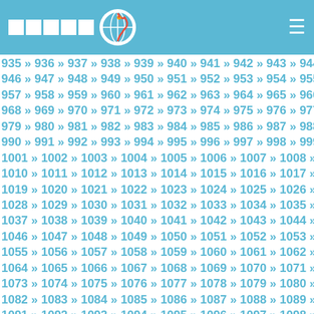Navigation header with logo squares, globe icon, and hamburger menu
935 » 936 » 937 » 938 » 939 » 940 » 941 » 942 » 943 » 944 » 945 » 946 » 947 » 948 » 949 » 950 » 951 » 952 » 953 » 954 » 955 » 956 » 957 » 958 » 959 » 960 » 961 » 962 » 963 » 964 » 965 » 966 » 967 » 968 » 969 » 970 » 971 » 972 » 973 » 974 » 975 » 976 » 977 » 978 » 979 » 980 » 981 » 982 » 983 » 984 » 985 » 986 » 987 » 988 » 989 » 990 » 991 » 992 » 993 » 994 » 995 » 996 » 997 » 998 » 999 » 1000 » 1001 » 1002 » 1003 » 1004 » 1005 » 1006 » 1007 » 1008 » 1009 » 1010 » 1011 » 1012 » 1013 » 1014 » 1015 » 1016 » 1017 » 1018 » 1019 » 1020 » 1021 » 1022 » 1023 » 1024 » 1025 » 1026 » 1027 » 1028 » 1029 » 1030 » 1031 » 1032 » 1033 » 1034 » 1035 » 1036 » 1037 » 1038 » 1039 » 1040 » 1041 » 1042 » 1043 » 1044 » 1045 » 1046 » 1047 » 1048 » 1049 » 1050 » 1051 » 1052 » 1053 » 1054 » 1055 » 1056 » 1057 » 1058 » 1059 » 1060 » 1061 » 1062 » 1063 » 1064 » 1065 » 1066 » 1067 » 1068 » 1069 » 1070 » 1071 » 1072 » 1073 » 1074 » 1075 » 1076 » 1077 » 1078 » 1079 » 1080 » 1081 » 1082 » 1083 » 1084 » 1085 » 1086 » 1087 » 1088 » 1089 » 1090 » 1091 » 1092 » 1093 » 1094 » 1095 » 1096 » 1097 » 1098 » 1099 » 1100 » 1101 » 1102 » 1103 » 1104 » 1105 » 1106 » 1107 » 1108 » 1109 » 1110 » 1111 » 1112 » 1113 » 1114 » 1115 » 1116 » 1117 » 1118 » 1119 » 1120 » 1121 » 1122 » 1123 » 1124 » 1125 » 1126 » 1127 » 1128 » 1129 » 1130 » 1131 » 1132 » 1133 » 1134 » 1135 »